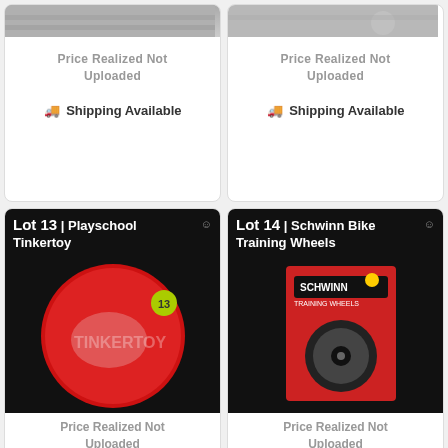[Figure (photo): Top portion of a product image (cropped), left card]
Price Realized Not Uploaded
🚚 Shipping Available
[Figure (photo): Top portion of a product image (cropped), right card]
Price Realized Not Uploaded
🚚 Shipping Available
Lot 13 | Playschool Tinkertoy
[Figure (photo): Red plastic disc toy (Playschool Tinkertoy) on black background with yellow sticker labeled 13]
Price Realized Not Uploaded
🚚 Shipping Available
Lot 14 | Schwinn Bike Training Wheels
[Figure (photo): Schwinn Bike Training Wheels product in red packaging on black background]
Price Realized Not Uploaded
🚚 Shipping Available